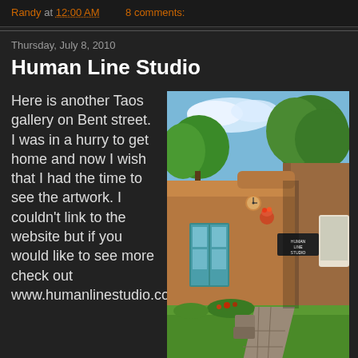Randy at 12:00 AM   8 comments:
Thursday, July 8, 2010
Human Line Studio
Here is another Taos gallery on Bent street. I was in a hurry to get home and now I wish that I had the time to see the artwork. I couldn't link to the website but if you would like to see more check out www.humanlinestudio.com
[Figure (photo): Exterior photo of Human Line Studio, a Taos adobe-style building on Bent street. Shows adobe walls, turquoise door trim, a clock, flower pots, a sign reading Human Line Studio, green trees, blue sky, and a stone walkway leading to the entrance.]